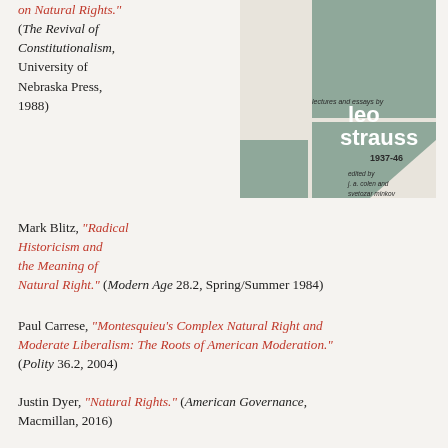on Natural Rights." (The Revival of Constitutionalism, University of Nebraska Press, 1988)
[Figure (illustration): Book cover: 'lectures and essays by leo strauss 1937-46, edited by j. a. colen and svetozar minkov' with geometric sage-green hexagonal shapes on cream background]
Mark Blitz, "Radical Historicism and the Meaning of Natural Right." (Modern Age 28.2, Spring/Summer 1984)
Paul Carrese, "Montesquieu's Complex Natural Right and Moderate Liberalism: The Roots of American Moderation." (Polity 36.2, 2004)
Justin Dyer, "Natural Rights." (American Governance, Macmillan, 2016)